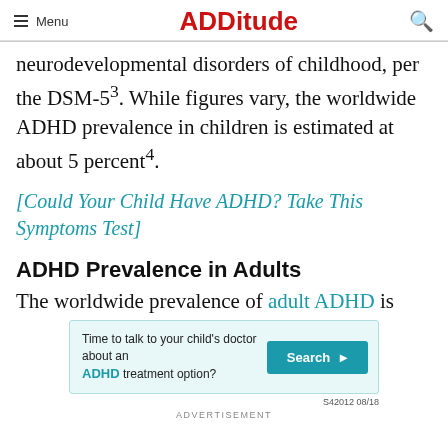Menu | ADDitude | [search]
neurodevelopmental disorders of childhood, per the DSM-5³. While figures vary, the worldwide ADHD prevalence in children is estimated at about 5 percent⁴.
[Could Your Child Have ADHD? Take This Symptoms Test]
ADHD Prevalence in Adults
The worldwide prevalence of adult ADHD is
[Figure (infographic): Advertisement banner: 'Time to talk to your child's doctor about an ADHD treatment option?' with a teal Search button and code S42012 08/18]